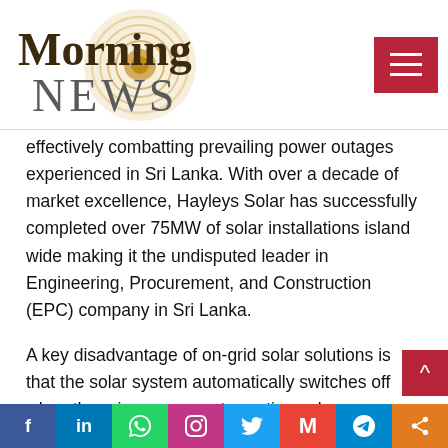[Figure (logo): Morning NEWS logo with golden concentric circle graphic behind the text]
effectively combatting prevailing power outages experienced in Sri Lanka. With over a decade of market excellence, Hayleys Solar has successfully completed over 75MW of solar installations island wide making it the undisputed leader in Engineering, Procurement, and Construction (EPC) company in Sri Lanka.
A key disadvantage of on-grid solar solutions is that the solar system automatically switches off when there is a power cut, wasting solar energy that could be generated during the day. The Energynet solution mitigates this drawback by enabling solar energy to be utilised even
Social share bar: Facebook, LinkedIn, WhatsApp, Instagram, Twitter, Gmail, Telegram, Share